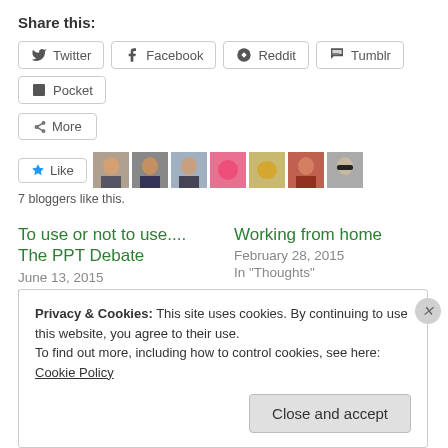Share this:
Twitter
Facebook
Reddit
Tumblr
Pocket
More
[Figure (other): Like button with star icon and 7 blogger avatar thumbnails]
7 bloggers like this.
To use or not to use.... The PPT Debate
June 13, 2015
With 12 comments
Working from home
February 28, 2015
In "Thoughts"
I love to hate formal
Privacy & Cookies: This site uses cookies. By continuing to use this website, you agree to their use.
To find out more, including how to control cookies, see here: Cookie Policy
Close and accept